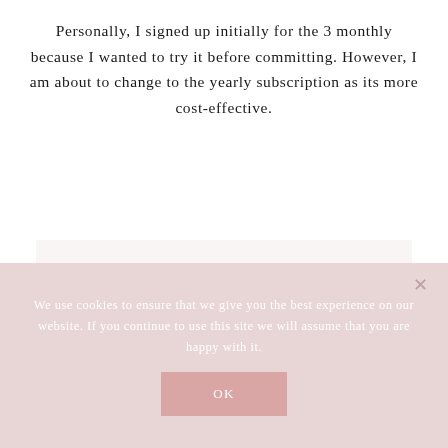Personally, I signed up initially for the 3 monthly because I wanted to try it before committing. However, I am about to change to the yearly subscription as its more cost-effective.
Check out some more great self care posts here.
We use cookies to ensure that we give you the best experience on our website. If you continue to use this site we will assume that you are happy with it.